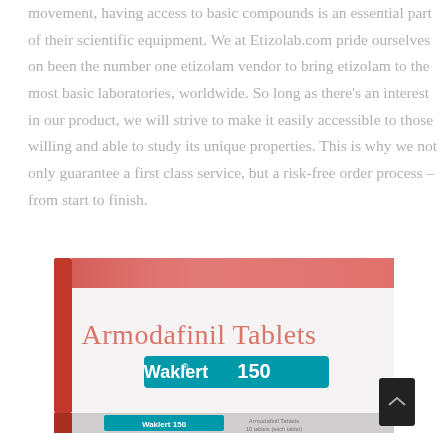movement, having access to basic compounds is an essential part of their scientific equipment. We at Etizolab.com pride ourselves on been the number one etizolam vendor to bring etizolam to the most basic laboratories, worldwide. So long as there's an interest in our product, we will strive to make it easily accessible to those willing and able to study its unique properties. This is why we not only guarantee a first class service, but a risk-free order process – from start to finish.
[Figure (photo): Photo of a medication box labeled 'Armodafinil Tablets' with 'Waklert 150' branding on a teal/cyan background strip. The box is white with a red stripe on the left side and a red decorative band at the top. A small black device is visible on the right side of the box.]